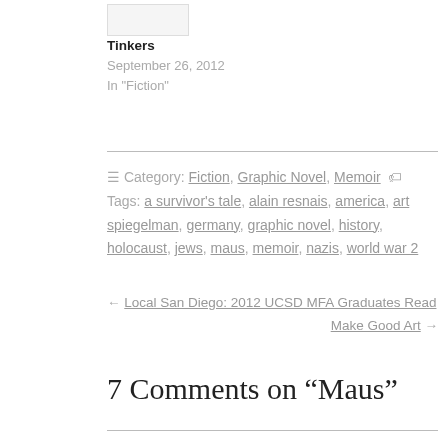[Figure (photo): Thumbnail image for Tinkers book]
Tinkers
September 26, 2012
In "Fiction"
≡ Category: Fiction, Graphic Novel, Memoir 🏷 Tags: a survivor's tale, alain resnais, america, art spiegelman, germany, graphic novel, history, holocaust, jews, maus, memoir, nazis, world war 2
← Local San Diego: 2012 UCSD MFA Graduates Read
Make Good Art →
7 Comments on "Maus"